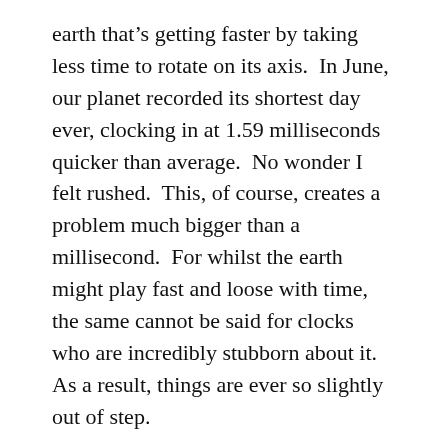earth that's getting faster by taking less time to rotate on its axis.  In June, our planet recorded its shortest day ever, clocking in at 1.59 milliseconds quicker than average.  No wonder I felt rushed.  This, of course, creates a problem much bigger than a millisecond.  For whilst the earth might play fast and loose with time, the same cannot be said for clocks who are incredibly stubborn about it.  As a result, things are ever so slightly out of step.
I'm no expert, but I'm pretty sure that it's this kind of confluence  of circumstances that makes time travel a reality.  I'm tempted to take the Holden Astra up to eighty eight miles an hour in the Woolies car park and see if I end